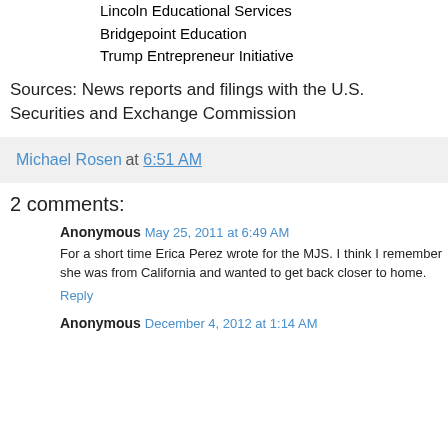Lincoln Educational Services
Bridgepoint Education
Trump Entrepreneur Initiative
Sources: News reports and filings with the U.S. Securities and Exchange Commission
Michael Rosen at 6:51 AM
2 comments:
Anonymous May 25, 2011 at 6:49 AM
For a short time Erica Perez wrote for the MJS. I think I remember she was from California and wanted to get back closer to home.
Reply
Anonymous December 4, 2012 at 1:14 AM